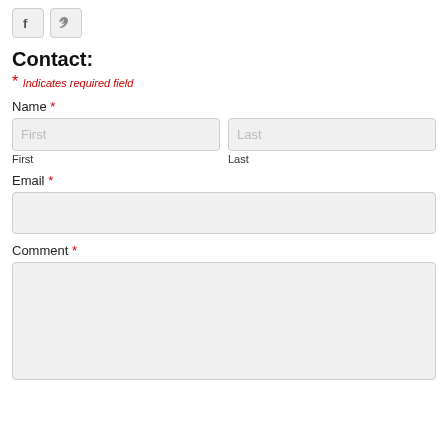[Figure (other): Social media icon buttons (Facebook and Twitter/bird) at top of page]
Contact:
* Indicates required field
Name *
First
Last
Email *
Comment *